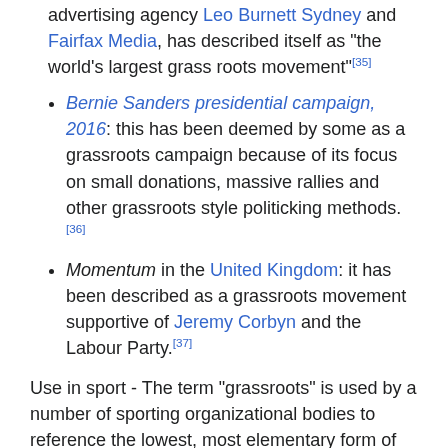advertising agency Leo Burnett Sydney and Fairfax Media, has described itself as "the world's largest grass roots movement"[35]
Bernie Sanders presidential campaign, 2016: this has been deemed by some as a grassroots campaign because of its focus on small donations, massive rallies and other grassroots style politicking methods.[36]
Momentum in the United Kingdom: it has been described as a grassroots movement supportive of Jeremy Corbyn and the Labour Party.[37]
Use in sport - The term "grassroots" is used by a number of sporting organizational bodies to reference the lowest, most elementary form of the game that anyone can play. Focusing on the grassroots of a sporting code can lead to greater participation numbers, greater support of professional teams/athletes and ultimately provide performance and financial benefits to the organization to invest into the growth and development of the sport.[38][39] Some examples of this are FIFA's Grassroots Programme and the Football Federation...